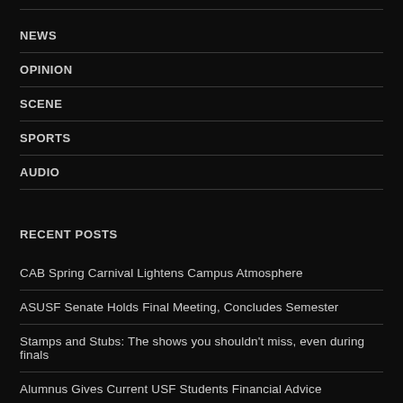NEWS
OPINION
SCENE
SPORTS
AUDIO
RECENT POSTS
CAB Spring Carnival Lightens Campus Atmosphere
ASUSF Senate Holds Final Meeting, Concludes Semester
Stamps and Stubs: The shows you shouldn't miss, even during finals
Alumnus Gives Current USF Students Financial Advice